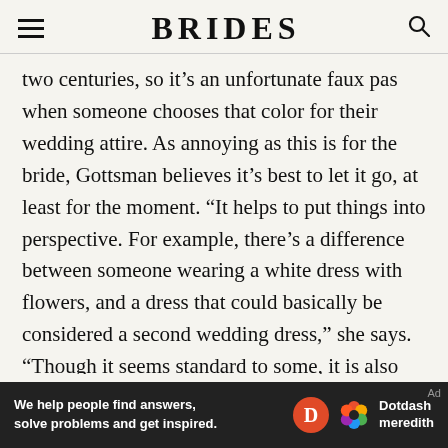BRIDES
two centuries, so it’s an unfortunate faux pas when someone chooses that color for their wedding attire. As annoying as this is for the bride, Gottsman believes it’s best to let it go, at least for the moment. “It helps to put things into perspective. For example, there’s a difference between someone wearing a white dress with flowers, and a dress that could basically be considered a second wedding dress,” she says. “Though it seems standard to some, it is also possible that the guest was not informed of this unspoken rule and simply thought the outfit looked nice.” At the end of the day, you have a 24-hour
[Figure (other): Dotdash Meredith advertisement banner: 'We help people find answers, solve problems and get inspired.' with Dotdash Meredith logo]